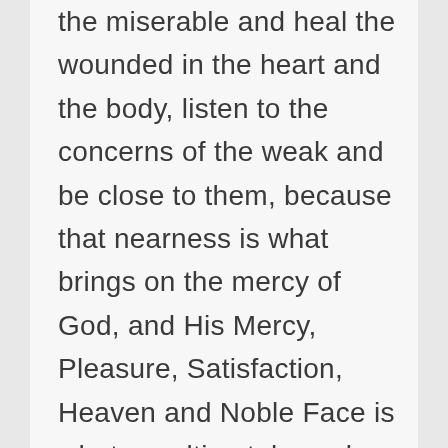the miserable and heal the wounded in the heart and the body, listen to the concerns of the weak and be close to them, because that nearness is what brings on the mercy of God, and His Mercy, Pleasure, Satisfaction, Heaven and Noble Face is what we ultimately seek.